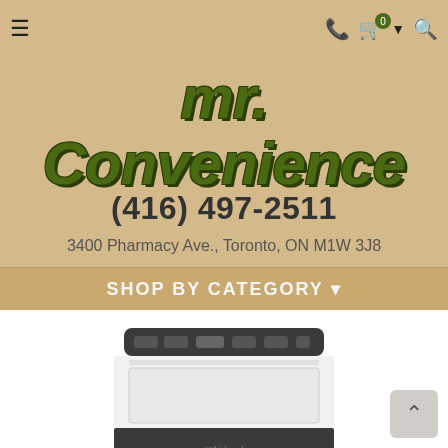Navigation bar with hamburger menu, phone icon, cart with 0 items, dropdown arrow, and search icon
mr. Convenience
(416) 497-2511
3400 Pharmacy Ave., Toronto, ON M1W 3J8
SHOP BY CATEGORY ▾
[Figure (photo): A white top-loading washing machine (Whirlpool brand) with dark control panel at top, partially visible in lower portion of page]